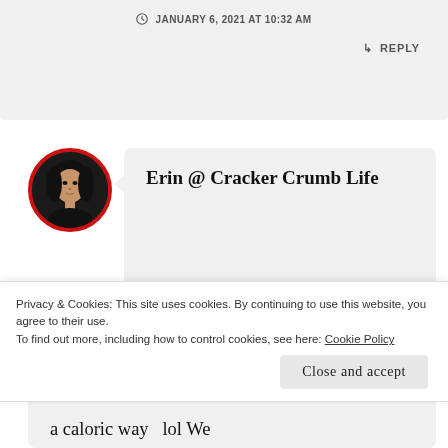JANUARY 6, 2021 AT 10:32 AM
↳ REPLY
Erin @ Cracker Crumb Life
It's always a challenge!! We have a small house, less than 1000 sq feet
Privacy & Cookies: This site uses cookies. By continuing to use this website, you agree to their use.
To find out more, including how to control cookies, see here: Cookie Policy
Close and accept
a caloric way   lol We